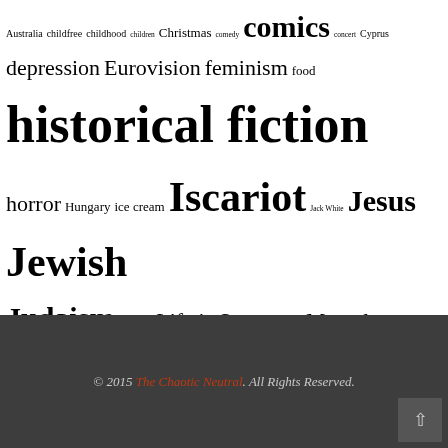Australia childfree childhood children Christmas comedy comics concert Cyprus depression Eurovision feminism food historical fiction horror Hungary ice cream Iscariot Jack White Jesus Jewish Judaism justice Life is Strange lists Marvel Netflix Oscars Oscars 2018 philosophy politics Portugal racism recipe review reviews serial technology things that made me trans video games vinyl white women writing
© 2015 The Chaotic Neutral. All Rights Reserved.